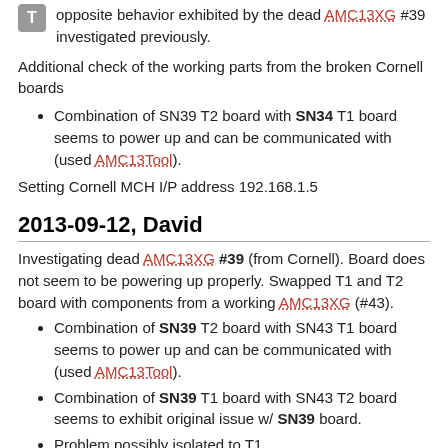opposite behavior exhibited by the dead AMC13XG #39 investigated previously.
Additional check of the working parts from the broken Cornell boards
Combination of SN39 T2 board with SN34 T1 board seems to power up and can be communicated with (used AMC13Tool).
Setting Cornell MCH I/P address 192.168.1.5
2013-09-12, David
Investigating dead AMC13XG #39 (from Cornell). Board does not seem to be powering up properly. Swapped T1 and T2 board with components from a working AMC13XG (#43).
Combination of SN39 T2 board with SN43 T1 board seems to power up and can be communicated with (used AMC13Tool).
Combination of SN39 T1 board with SN43 T2 board seems to exhibit original issue w/ SN39 board.
Problem possibly isolated to T1